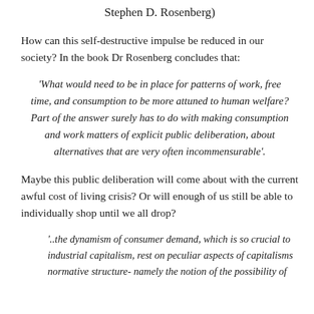Stephen D. Rosenberg)
How can this self-destructive impulse be reduced in our society? In the book Dr Rosenberg concludes that:
'What would need to be in place for patterns of work, free time, and consumption to be more attuned to human welfare? Part of the answer surely has to do with making consumption and work matters of explicit public deliberation, about alternatives that are very often incommensurable'.
Maybe this public deliberation will come about with the current awful cost of living crisis? Or will enough of us still be able to individually shop until we all drop?
'..the dynamism of consumer demand, which is so crucial to industrial capitalism, rest on peculiar aspects of capitalisms normative structure- namely the notion of the possibility of